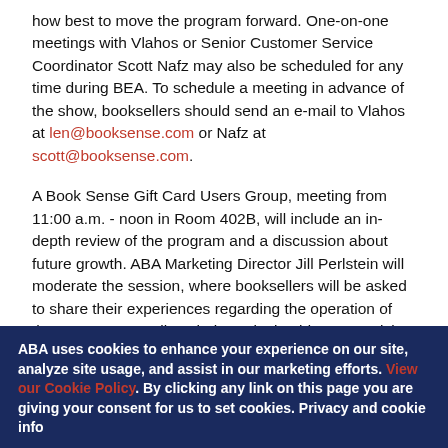how best to move the program forward. One-on-one meetings with Vlahos or Senior Customer Service Coordinator Scott Nafz may also be scheduled for any time during BEA. To schedule a meeting in advance of the show, booksellers should send an e-mail to Vlahos at len@booksense.com or Nafz at scott@booksense.com.
A Book Sense Gift Card Users Group, meeting from 11:00 a.m. - noon in Room 402B, will include an in-depth review of the program and a discussion about future growth. ABA Marketing Director Jill Perlstein will moderate the session, where booksellers will be asked to share their experiences regarding the operation of the program as well as their marketing ideas. Maurizio DiVito, the CFO of Givex, the gift card program administrator, will be in attendance.
ABA uses cookies to enhance your experience on our site, analyze site usage, and assist in our marketing efforts. View our Cookie Policy. By clicking any link on this page you are giving your consent for us to set cookies. Privacy and cookie info